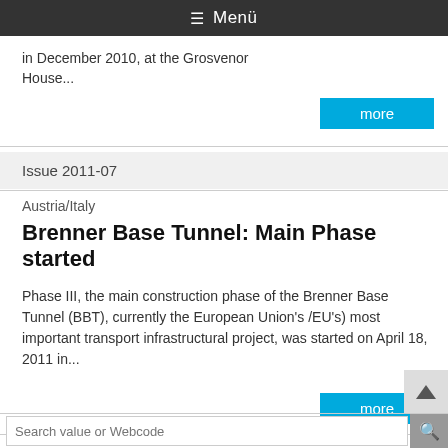☰ Menü
in December 2010, at the Grosvenor House...
more
Issue 2011-07
Austria/Italy
Brenner Base Tunnel: Main Phase started
Phase III, the main construction phase of the Brenner Base Tunnel (BBT), currently the European Union's /EU's) most important transport infrastructural project, was started on April 18, 2011 in...
more
Search value or Webcode